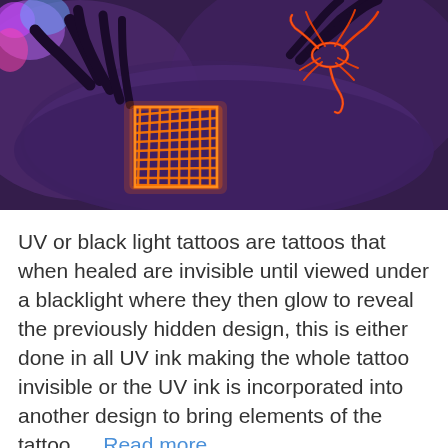[Figure (photo): A UV/black light photograph showing glowing orange-neon tattoo designs on a person's arm against a dark purple background. The tattoo shows a net/grid pattern and a crab or scorpion design glowing in orange-red neon.]
UV or black light tattoos are tattoos that when healed are invisible until viewed under a blacklight where they then glow to reveal the previously hidden design, this is either done in all UV ink making the whole tattoo invisible or the UV ink is incorporated into another design to bring elements of the tattoo ... Read more